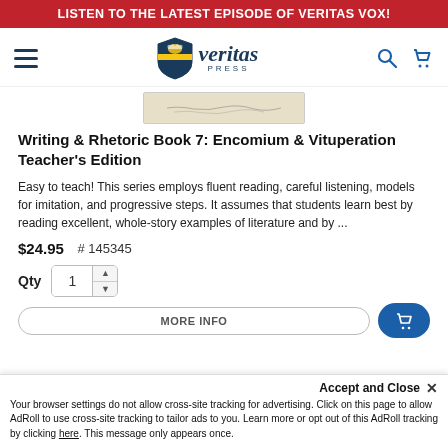LISTEN TO THE LATEST EPISODE OF VERITAS VOX!
[Figure (logo): Veritas Press logo with shield emblem and italic 'veritas PRESS' text]
[Figure (photo): Partial product image - handwritten text visible, beige background]
Writing & Rhetoric Book 7: Encomium & Vituperation Teacher's Edition
Easy to teach! This series employs fluent reading, careful listening, models for imitation, and progressive steps. It assumes that students learn best by reading excellent, whole-story examples of literature and by ...
$24.95  # 145345
Qty  1
MORE INFO
Accept and Close ×
Your browser settings do not allow cross-site tracking for advertising. Click on this page to allow AdRoll to use cross-site tracking to tailor ads to you. Learn more or opt out of this AdRoll tracking by clicking here. This message only appears once.